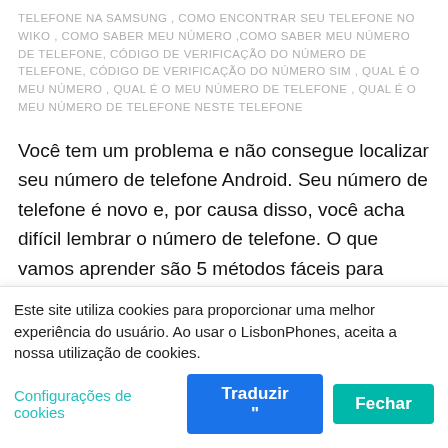TELEFONE NA SAMSUNG , COMO ENCONTRAR SEU TELEFONE NO WIKO , COMO SABER MEU NÚMERO ,COMO SABER MEU NÚMERO DE TELEFONE, CÓDIGO DE VERIFICAÇÃO DO NÚMERO DE TELEFONE, CÓDIGO DE VERIFICAÇÃO DO NÚMERO SIM , QUAL É O MEU NÚMERO , QUAL É O MEU NÚMERO DE TELEFONE , QUAL É O MEU NÚMERO DE TELEFONE NESTE TELEFONE
Você tem um problema e não consegue localizar seu número de telefone Android. Seu número de telefone é novo e, por causa disso, você acha difícil lembrar o número de telefone. O que vamos aprender são 5 métodos fáceis para localizar o número do seu telefone no seu dispositivo Android, para que você possa continuar usando seu celular sem problemas.
Para resolver este problema, compilamos este, um
Este site utiliza cookies para proporcionar uma melhor experiência do usuário. Ao usar o LisbonPhones, aceita a nossa utilização de cookies.
Configurações de cookies
Fechar
Traduzir "